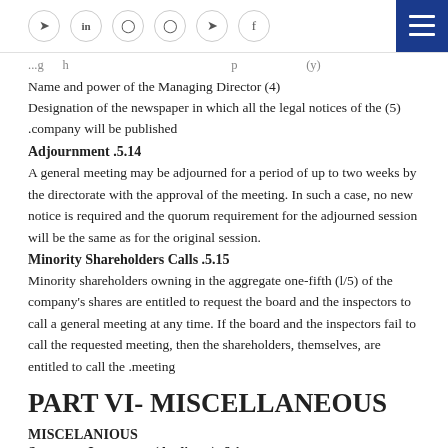Social media icons and menu button
...g h ... p ... (y)
Name and power of the Managing Director (4)
Designation of the newspaper in which all the legal notices of the (5) company will be published.
14.5. Adjournment
A general meeting may be adjourned for a period of up to two weeks by the directorate with the approval of the meeting. In such a case, no new notice is required and the quorum requirement for the adjourned session will be the same as for the original session.
15.5. Minority Shareholders Calls
Minority shareholders owning in the aggregate one-fifth (l/5) of the company's shares are entitled to request the board and the inspectors to call a general meeting at any time. If the board and the inspectors fail to call the requested meeting, then the shareholders, themselves, are entitled to call the meeting.
PART VI- MISCELLANEOUS
MISCELANIOUS
6.1. Statutory Inspectors (Auditors)